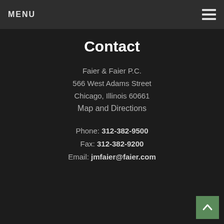MENU
Contact
Faier & Faier P.C.
566 West Adams Street
Chicago, Illinois 60661
Map and Directions
Phone: 312-382-9500
Fax: 312-382-9200
Email: jmfaier@faier.com